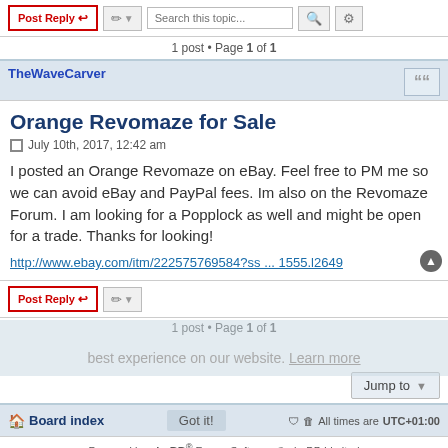Post Reply | tool | Search this topic...
1 post • Page 1 of 1
TheWaveCarver
Orange Revomaze for Sale
July 10th, 2017, 12:42 am
I posted an Orange Revomaze on eBay. Feel free to PM me so we can avoid eBay and PayPal fees. Im also on the Revomaze Forum. I am looking for a Popplock as well and might be open for a trade. Thanks for looking!
http://www.ebay.com/itm/222575769584?ss ... 1555.l2649
Post Reply | tool | 1 post • Page 1 of 1 | Jump to | Board index | Got it! | All times are UTC+01:00 | Powered by phpBB® Forum Software © phpBB Limited